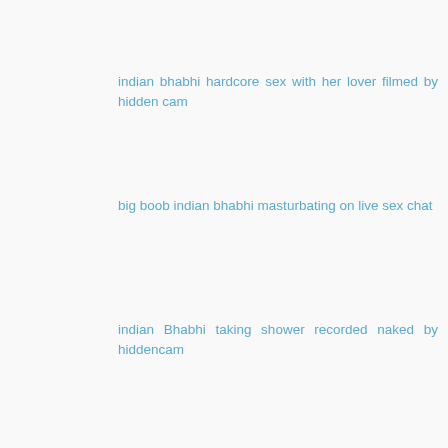indian bhabhi hardcore sex with her lover filmed by hidden cam
big boob indian bhabhi masturbating on live sex chat
indian Bhabhi taking shower recorded naked by hiddencam
indian maid fucked hard secretly recorded by spycam leaked mms
indian sex video college girl fucked by her boyfriend in laboratory mms
Reply